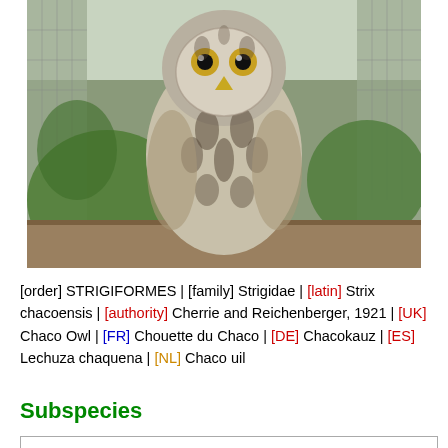[Figure (photo): Front-facing photograph of a Chaco Owl (Strix chacoensis) perched on a wooden beam inside a wire enclosure. The owl has prominent dark brown and white barred/streaked plumage, yellow eyes, and is facing the camera directly. Green foliage is visible in the background.]
[order] STRIGIFORMES | [family] Strigidae | [latin] Strix chacoensis | [authority] Cherrie and Reichenberger, 1921 | [UK] Chaco Owl | [FR] Chouette du Chaco | [DE] Chacokauz | [ES] Lechuza chaquena | [NL] Chaco uil
Subspecies